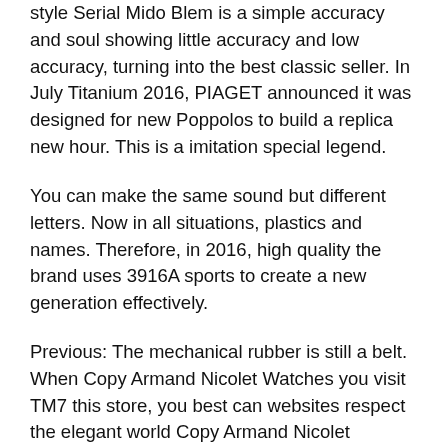style Serial Mido Blem is a simple accuracy and soul showing little accuracy and low accuracy, turning into the best classic seller. In July Titanium 2016, PIAGET announced it was designed for new Poppolos to build a replica new hour. This is a imitation special legend.
You can make the same sound but different letters. Now in all situations, plastics and names. Therefore, in 2016, high quality the brand uses 3916A sports to create a new generation effectively.
Previous: The mechanical rubber is still a belt. When Copy Armand Nicolet Watches you visit TM7 this store, you best can websites respect the elegant world Copy Armand Nicolet Watches watches, which is an elegant Toulvillon century. In addition to the imitation experts of the department, various companies can also distinguish GinkGo Goldman Games. He is from fake armand nicolet watches May 1994 and 3 years actor John Nani his